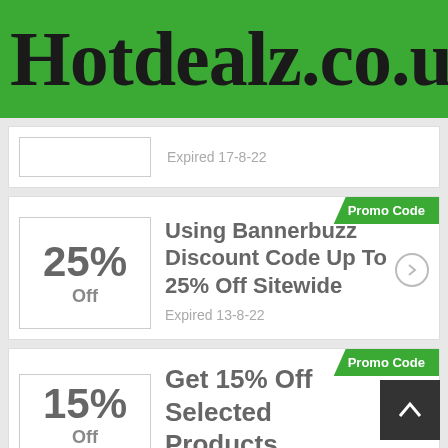Hotdealz.co.uk
Expired 17-8-22
Promo Code
25% Off
Using Bannerbuzz Discount Code Up To 25% Off Sitewide
Expired 13-8-22
Promo Code
15%
Get 15% Off Selected Products